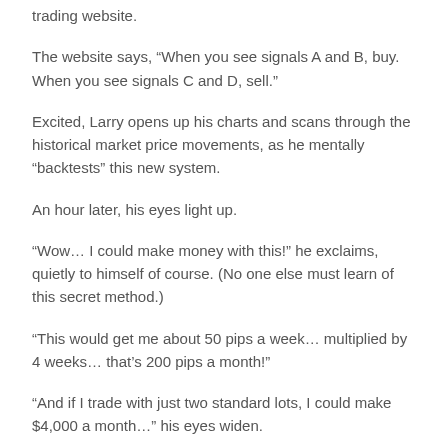trading website.
The website says, “When you see signals A and B, buy. When you see signals C and D, sell.”
Excited, Larry opens up his charts and scans through the historical market price movements, as he mentally “backtests” this new system.
An hour later, his eyes light up.
“Wow… I could make money with this!” he exclaims, quietly to himself of course. (No one else must learn of this secret method.)
“This would get me about 50 pips a week… multiplied by 4 weeks… that’s 200 pips a month!”
“And if I trade with just two standard lots, I could make $4,000 a month…” his eyes widen.